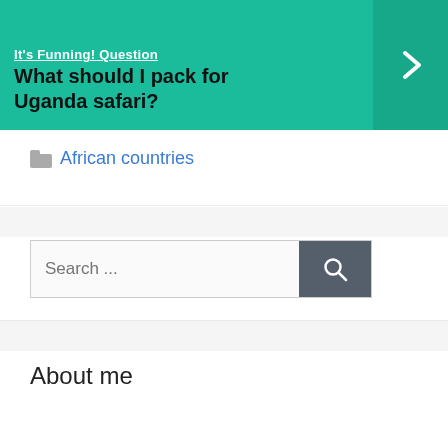[Figure (screenshot): Teal/green banner with text 'It's Funning! Question' underlined at top, bold black question text 'What should I pack for Uganda safari?' and a right-pointing arrow button on the right side]
African countries
Search ...
About me